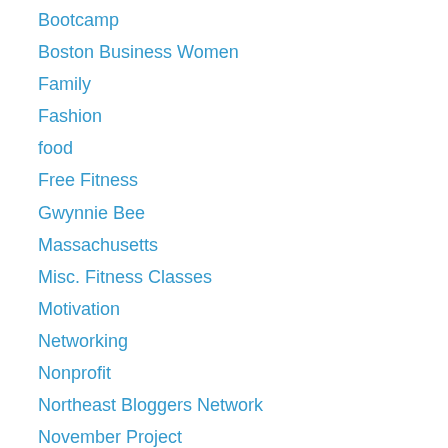Bootcamp
Boston Business Women
Family
Fashion
food
Free Fitness
Gwynnie Bee
Massachusetts
Misc. Fitness Classes
Motivation
Networking
Nonprofit
Northeast Bloggers Network
November Project
Personal Training
Photo Blogging Challenge
Plus Sized
Plus Sized Fashion
Product Review
running